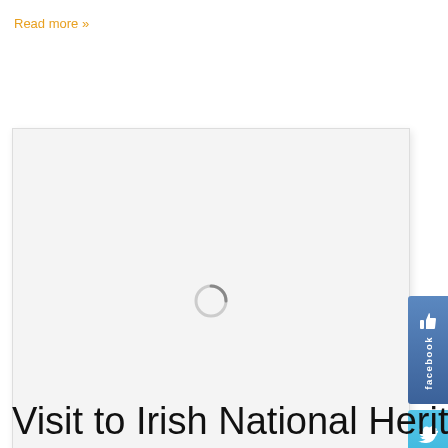Read more »
[Figure (screenshot): A loading placeholder box with a spinning loading indicator (circle) in the center, on a light gray background with border.]
[Figure (screenshot): Facebook social media button (blue, vertical) on the right side.]
[Figure (screenshot): Twitter social media button (light blue, vertical) on the right side below Facebook button.]
Visit to Irish National Heritag...